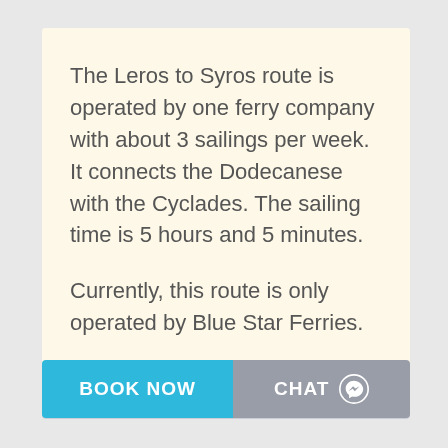The Leros to Syros route is operated by one ferry company with about 3 sailings per week. It connects the Dodecanese with the Cyclades. The sailing time is 5 hours and 5 minutes.
Currently, this route is only operated by Blue Star Ferries.